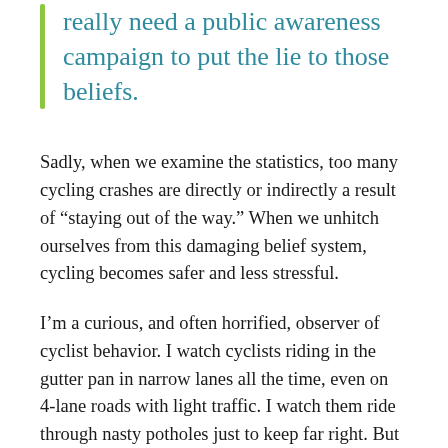really need a public awareness campaign to put the lie to those beliefs.
Sadly, when we examine the statistics, too many cycling crashes are directly or indirectly a result of “staying out of the way.” When we unhitch ourselves from this damaging belief system, cycling becomes safer and less stressful.
I’m a curious, and often horrified, observer of cyclist behavior. I watch cyclists riding in the gutter pan in narrow lanes all the time, even on 4-lane roads with light traffic. I watch them ride through nasty potholes just to keep far right. But the scariest thing I see is cyclists skimming along parked cars, completely oblivious to the fact they are playing Russian Roulette. There seems to be little consciousness of